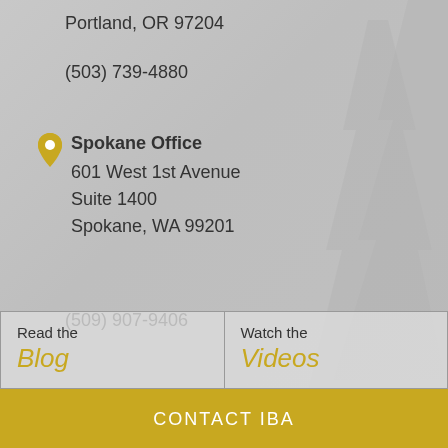Portland, OR 97204
(503) 739-4880
Spokane Office
601 West 1st Avenue
Suite 1400
Spokane, WA 99201
(509) 907-9406
Read the
Blog
Watch the
Videos
CONTACT IBA